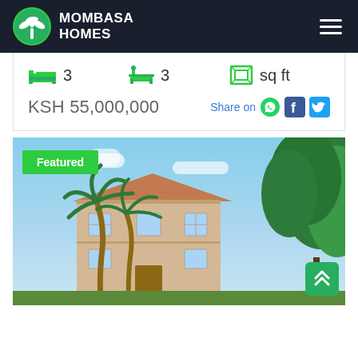MOMBASA HOMES
3 bedrooms  3 bathrooms  sq ft
KSH 55,000,000
Share on
[Figure (photo): Featured property listing photo showing a large residential house with palm trees and blue sky, with a 'Featured' badge overlay]
Featured